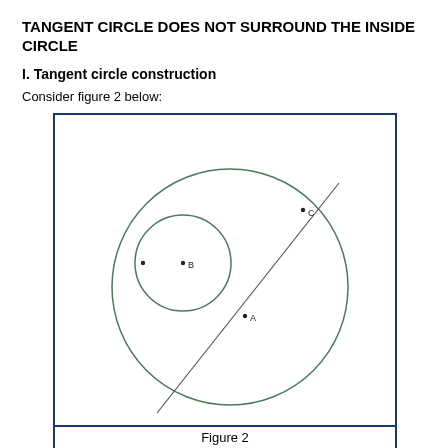TANGENT CIRCLE DOES NOT SURROUND THE INSIDE CIRCLE
I. Tangent circle construction
Consider figure 2 below:
[Figure (engineering-diagram): Two circles: a large outer circle (green) with center A, and a smaller inner circle (green) with center B, positioned inside the large circle but not concentric. A diagonal line passes through the diagram touching both circles. Point C is labeled on the upper right of the large circle where the line exits. A small dot is marked to the left of center B. All within a blue-bordered rectangular frame.]
Figure 2